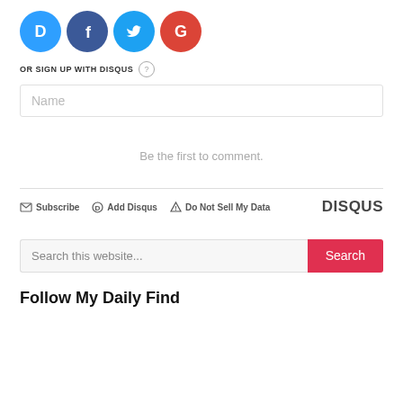[Figure (illustration): Four social login icons in circles: Disqus (blue), Facebook (dark blue), Twitter (light blue), Google (red)]
OR SIGN UP WITH DISQUS ?
Name
Be the first to comment.
Subscribe  Add Disqus  Do Not Sell My Data   DISQUS
Search this website...
Follow My Daily Find